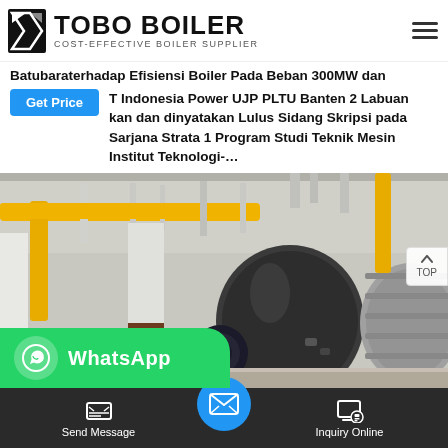TOBO BOILER — COST-EFFECTIVE BOILER SUPPLIER
Batubaraterhadap Efisiensi Boiler Pada Beban 300MW dan PT Indonesia Power UJP PLTU Banten 2 Labuan ikan dan dinyatakan Lulus Sidang Skripsi pada Sarjana Strata 1 Program Studi Teknik Mesin Institut Teknologi-…
[Figure (photo): Industrial boiler room interior showing large cylindrical boilers with yellow pipes, white columns, and silver insulated ducts. Professional industrial facility with bright lighting.]
WhatsApp
Send Message | Inquiry Online